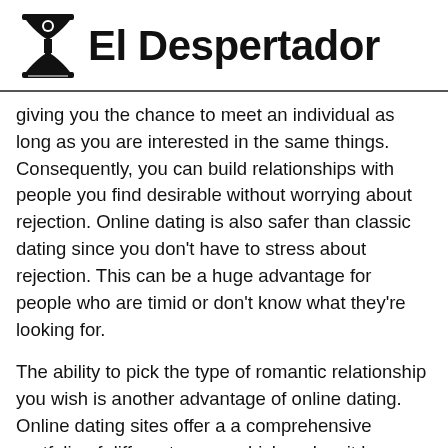[Figure (logo): El Despertador newspaper logo with hourglass figure illustration and bold text title]
giving you the chance to meet an individual as long as you are interested in the same things. Consequently, you can build relationships with people you find desirable without worrying about rejection. Online dating is also safer than classic dating since you don't have to stress about rejection. This can be a huge advantage for people who are timid or don't know what they're looking for.
The ability to pick the type of romantic relationship you wish is another advantage of online dating. Online dating sites offer a a comprehensive portfolio of different users, which makes it less complicated to satisfy new